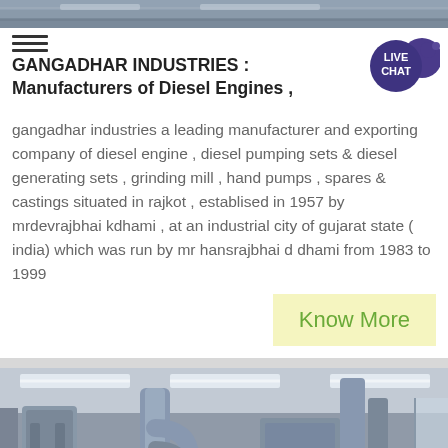[Figure (photo): Industrial machinery inside a factory building, top banner image]
GANGADHAR INDUSTRIES : Manufacturers of Diesel Engines ,
[Figure (other): Live Chat bubble icon in dark purple]
gangadhar industries a leading manufacturer and exporting company of diesel engine , diesel pumping sets & diesel generating sets , grinding mill , hand pumps , spares & castings situated in rajkot , establised in 1957 by mrdevrajbhai kdhami , at an industrial city of gujarat state ( india) which was run by mr hansrajbhai d dhami from 1983 to 1999
Know More
[Figure (photo): Interior of industrial factory with large grey machinery, pipes and ceiling lights]